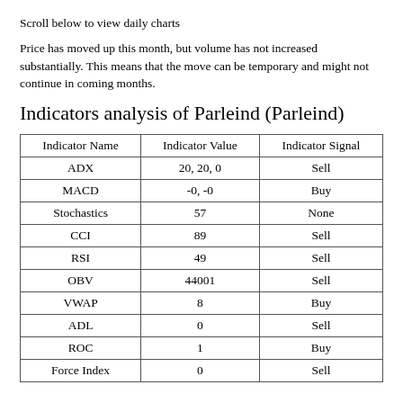Scroll below to view daily charts
Price has moved up this month, but volume has not increased substantially. This means that the move can be temporary and might not continue in coming months.
Indicators analysis of Parleind (Parleind)
| Indicator Name | Indicator Value | Indicator Signal |
| --- | --- | --- |
| ADX | 20, 20, 0 | Sell |
| MACD | -0, -0 | Buy |
| Stochastics | 57 | None |
| CCI | 89 | Sell |
| RSI | 49 | Sell |
| OBV | 44001 | Sell |
| VWAP | 8 | Buy |
| ADL | 0 | Sell |
| ROC | 1 | Buy |
| Force Index | 0 | Sell |